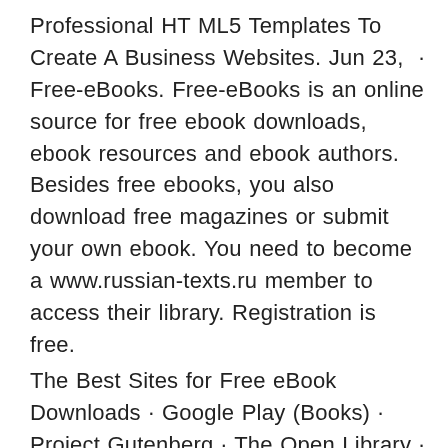Professional HTML5 Templates To Create A Business Websites. Jun 23, · Free-eBooks. Free-eBooks is an online source for free ebook downloads, ebook resources and ebook authors. Besides free ebooks, you also download free magazines or submit your own ebook. You need to become a www.russian-texts.ru member to access their library. Registration is free.
The Best Sites for Free eBook Downloads · Google Play (Books) · Project Gutenberg · The Open Library · Bookbub · International Digital Children's Library · Read Print. Download free Kindle books from these 9 sites · 1. Project Gutenberg. Project Gutenberg is the longest-established ebook site in the world and the top place to.
Jan 03, · 6 Free Tools To Download Entire Websites For Offline Use Or Backup. 40 Free eBook ePUB Reader and Cover Creator Software. 8 Websites To Receive Free SMS Via Virtual Numbers For Online Verification. + Free